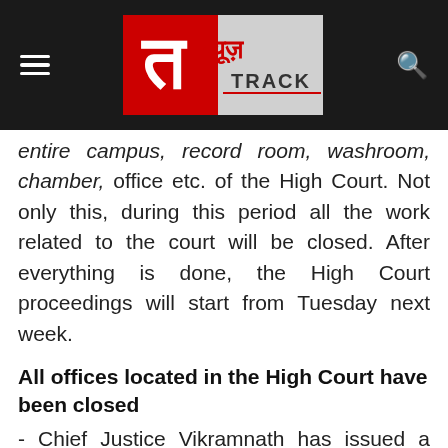[Figure (logo): News Track logo in header bar with hamburger menu on left and search icon on right]
entire campus, record room, washroom, chamber, office etc. of the High Court. Not only this, during this period all the work related to the court will be closed. After everything is done, the High Court proceedings will start from Tuesday next week.
All offices located in the High Court have been closed
- Chief Justice Vikramnath has issued a circular in which it has been said that the Advocate General, from the Government Advocate to all the court staff will undergo the corona test. It has also been said that during this time, SBI Bank, ATM, Post Office etc. located in the High Court will all be closed and it will